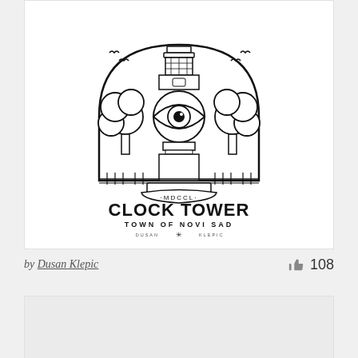[Figure (logo): Clock Tower logo illustration for the Town of Novi Sad. Features a detailed engraving-style drawing of a clock tower with an all-seeing eye, flanked by trees and birds, inside a semicircular arch. Below the illustration text reads 'MDCCL' in a banner. Large bold text 'CLOCK TOWER' and smaller spaced text 'TOWN OF NOVI SAD'. At the bottom a small wordmark 'DUSAN KLEPIC' with a decorative snowflake-like symbol.]
by Dusan Klepic
108